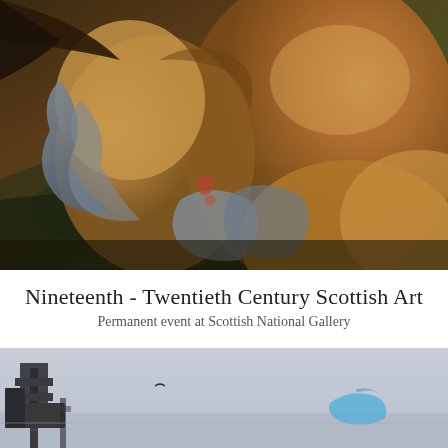[Figure (photo): Close-up detail of a painting showing two faces (profiles kissing or facing each other), rendered in warm brown and golden tones with landscape elements visible in the background. The style appears to be Pre-Raphaelite or late 19th century Scottish painting.]
Nineteenth - Twentieth Century Scottish Art
Permanent event at Scottish National Gallery
[Figure (photo): Partial view of a painting or artwork showing what appears to be an industrial or harbour scene with blue tones against a pale grey sky, with dark structural elements visible on the left side.]